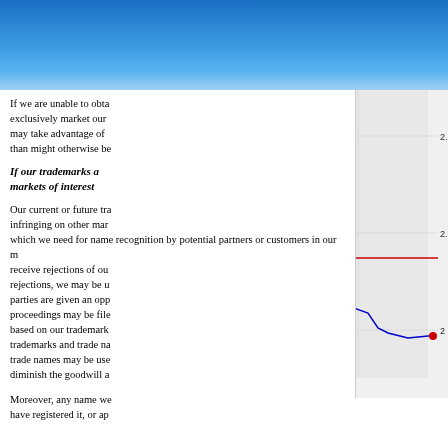If we are unable to obtain... exclusively market our ... may take advantage of ... than might otherwise be...
[Figure (continuous-plot): Stock price chart showing intraday price movement between approximately 1100 and 2300 time range, price between 2.0 and 2.2, with Pre and AH (after hours) shaded regions marked, red horizontal line at ~2.07, blue price line, watermark (c) www.advfn.com]
If our trademarks a... markets of interest...
Our current or future tra... infringing on other mar... which we need for name recognition by potential partners or customers in our m... receive rejections of ou... rejections, we may be u... parties are given an opp... proceedings may be file... based on our trademark... trademarks and trade na... trade names may be use... diminish the goodwill a...
[Figure (screenshot): ADVFN Trades (Time & Sales) panel showing dark blue background with ADVFN logo, subtitle 'Trades (Time & Sales)', and a screenshot of the ADVFN trading platform showing a table with columns Num, Exch., Price, Size, Type, C, T, Bid, Offer, Time with green rows of trade data (NYSE trades at ~70.06-70.07 price)]
Moreover, any name we... have registered it, or ap...